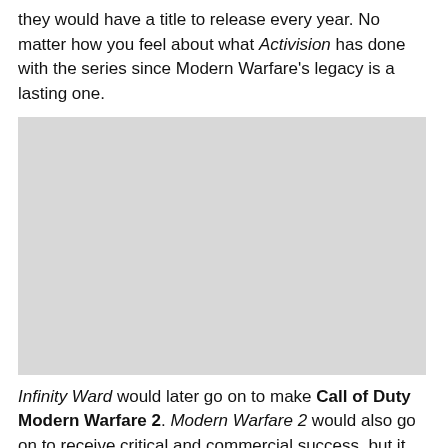they would have a title to release every year. No matter how you feel about what Activision has done with the series since Modern Warfare's legacy is a lasting one.
[Figure (photo): A large light gray rectangular image placeholder]
Infinity Ward would later go on to make Call of Duty Modern Warfare 2. Modern Warfare 2 would also go on to receive critical and commercial success, but it would mark a huge turning point for the developer. March 1st 2010 studio founders Zampella and West were escorted out of their